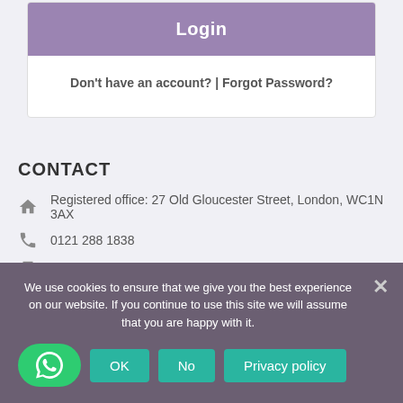Login
Don't have an account? | Forgot Password?
CONTACT
Registered office: 27 Old Gloucester Street, London, WC1N 3AX
0121 288 1838
Whatsapp: +90 539 2322419
We use cookies to ensure that we give you the best experience on our website. If you continue to use this site we will assume that you are happy with it.